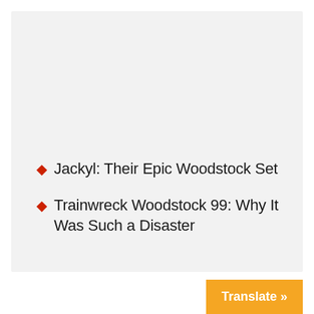Jackyl: Their Epic Woodstock Set
Trainwreck Woodstock 99: Why It Was Such a Disaster
Translate »